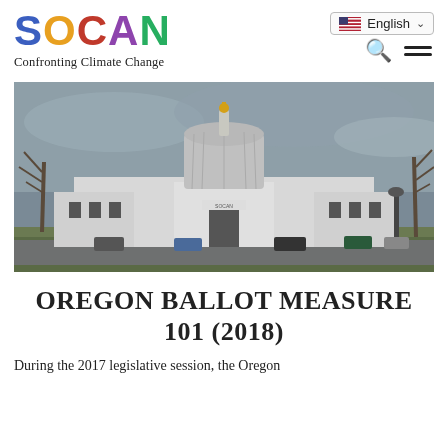SOCAN — Confronting Climate Change
[Figure (photo): Photograph of the Oregon State Capitol building under a cloudy grey sky. The white Art Deco Capitol dome is topped with a gold statue. Bare trees flank the building on either side. Cars are parked along the street in front.]
OREGON BALLOT MEASURE 101 (2018)
During the 2017 legislative session, the Oregon